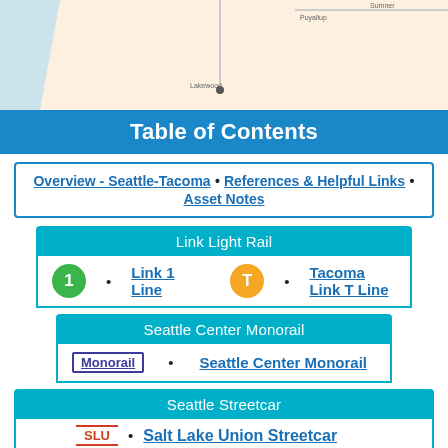[Figure (map): Partial map of Seattle-Tacoma area showing transit routes]
Table of Contents
Overview - Seattle-Tacoma • References & Helpful Links • Asset Notes
Link Light Rail
1 • Link 1 Line   T • Tacoma Link T Line
Seattle Center Monorail
Monorail • Seattle Center Monorail
Seattle Streetcar
SLU • Salt Lake Union Streetcar
First Hill • First Hill Streetcar